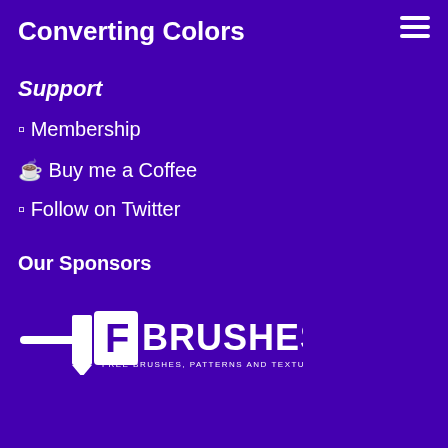Converting Colors
Support
⊓ Membership
☕ Buy me a Coffee
⊓ Follow on Twitter
Our Sponsors
[Figure (logo): F Brushes logo – Free Brushes, Patterns and Textures]